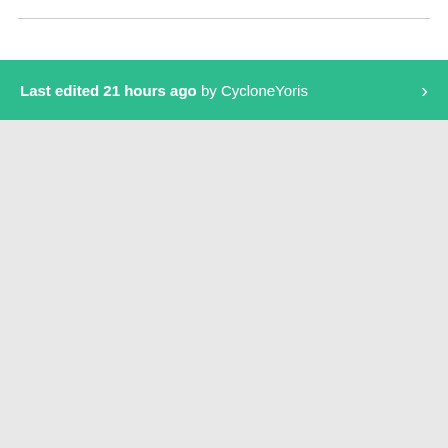Last edited 21 hours ago by CycloneYoris >